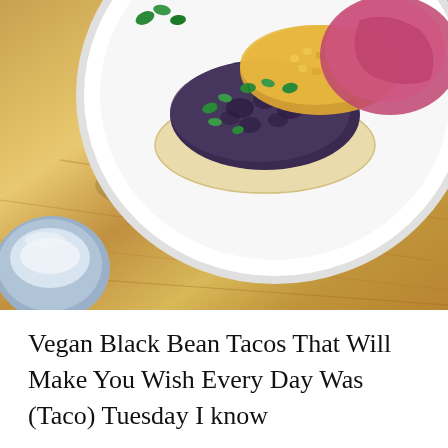[Figure (photo): Overhead photo of a white plate with a corn tortilla taco topped with black beans, yellow corn or scrambled egg, pink pickled cabbage/onion, and fresh green cilantro herbs, on a warm wooden table surface. A small grey salt bowl is visible in the bottom left corner.]
Vegan Black Bean Tacos That Will Make You Wish Every Day Was (Taco) Tuesday I know